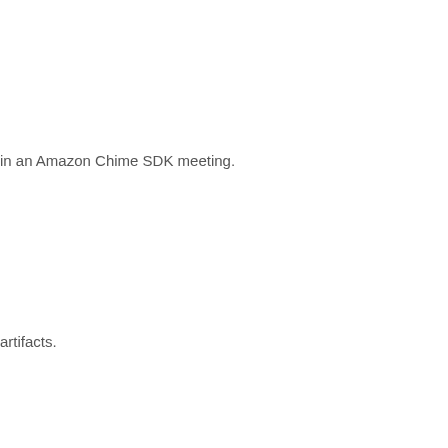in an Amazon Chime SDK meeting.
artifacts.
artifact configuration object.
artifacts.
artifact is enabled or disabled.